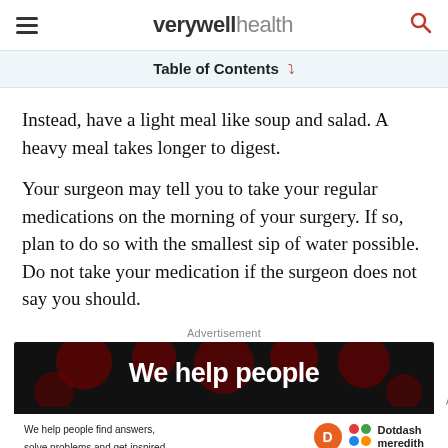verywell health
Table of Contents
Instead, have a light meal like soup and salad. A heavy meal takes longer to digest.
Your surgeon may tell you to take your regular medications on the morning of your surgery. If so, plan to do so with the smallest sip of water possible. Do not take your medication if the surgeon does not say you should.
Advertisement
[Figure (other): Advertisement banner with dark background showing 'We help people' text and Dotdash Meredith branding]